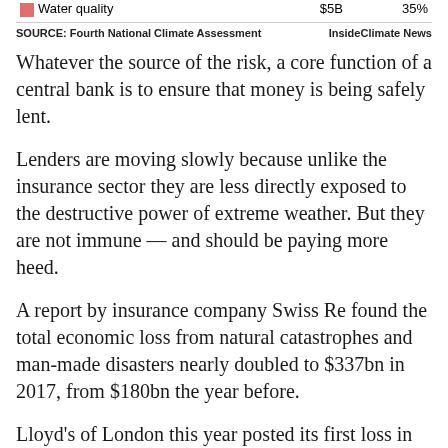|  |  | $5B | 35% |
| --- | --- | --- | --- |
| [red swatch] | Water quality | $5B | 35% |
SOURCE: Fourth National Climate Assessment    InsideClimate News
Whatever the source of the risk, a core function of a central bank is to ensure that money is being safely lent.
Lenders are moving slowly because unlike the insurance sector they are less directly exposed to the destructive power of extreme weather. But they are not immune — and should be paying more heed.
A report by insurance company Swiss Re found the total economic loss from natural catastrophes and man-made disasters nearly doubled to $337bn in 2017, from $180bn the year before.
Lloyd's of London this year posted its first loss in six years, citing the impact of a series of natural disasters.